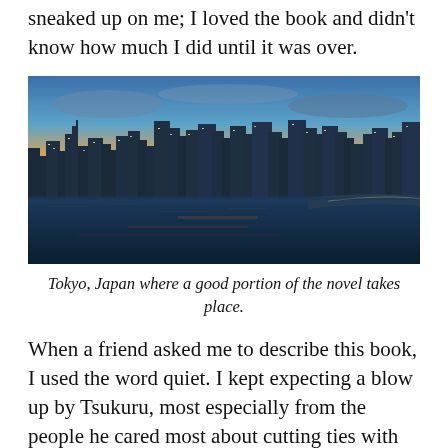sentence of the book, I was surprised at how it sneaked up on me; I loved the book and didn't know how much I did until it was over.
[Figure (photo): Night panoramic view of Tokyo, Japan skyline with city lights reflected on water, taken at dusk with orange and blue sky]
Tokyo, Japan where a good portion of the novel takes place.
When a friend asked me to describe this book, I used the word quiet. I kept expecting a blow up by Tsukuru, most especially from the people he cared most about cutting ties with him. I wanted the blow up, the explosion but this isn't that time of book.
This isn't my first book from a Japanese author